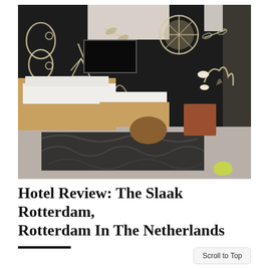[Figure (photo): Interior hotel room photo showing a stylish room with a dark wall covered in artistic illustrations (butterfly, dragonfly, wheel/citrus slice, plant motifs in cream/tan on black), a black flat-screen TV mounted on the wall, a bed with white linens and an orange/tan frame, a low wooden bench/sofa with white backing, a brown leather chair, a sculptural wooden coffee table, dark curtains on the right, pendant lights, and a black and white patterned rug on the floor.]
Hotel Review: The Slaak Rotterdam, Rotterdam In The Netherlands
Scroll to Top